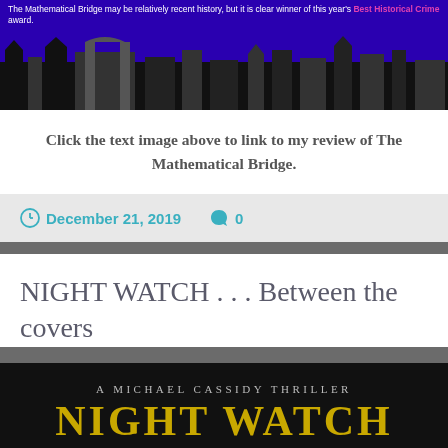[Figure (illustration): Banner image with dark blue/purple background showing Cambridge skyline silhouettes in black and grey, with overlay text mentioning 'The Mathematical Bridge' and a pink 'Best Historical Crime' award link.]
Click the text image above to link to my review of The Mathematical Bridge.
December 21, 2019   0
NIGHT WATCH . . . Between the covers
[Figure (photo): Book cover banner for 'A Michael Cassidy Thriller' showing 'NIGHT WATCH' title in gold on black background.]